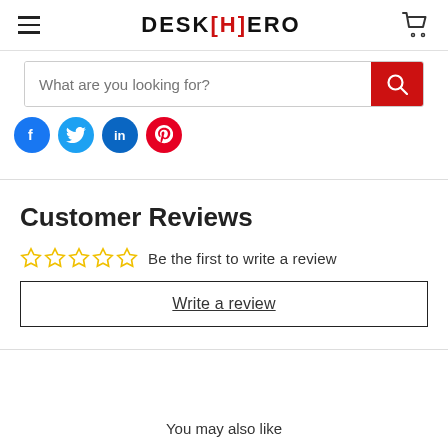DESK[H]ERO — navigation header with hamburger menu and cart icon
[Figure (screenshot): Search bar with placeholder text 'What are you looking for?' and red search button]
[Figure (infographic): Four social media icon circles: Facebook (blue), Twitter (blue), LinkedIn (dark blue), Pinterest (red)]
Customer Reviews
☆☆☆☆☆ Be the first to write a review
Write a review